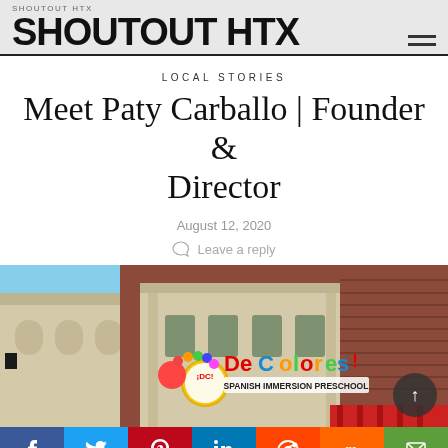SHOUTOUT HTX
LOCAL STORIES
Meet Paty Carballo | Founder & Director
August 12, 2020
Leave a reply
[Figure (photo): Exterior photo of De Colores Spanish Immersion Preschool building with colorful sign]
Social share buttons: Facebook, Twitter, Pinterest, LinkedIn, Reddit, Mix, Email